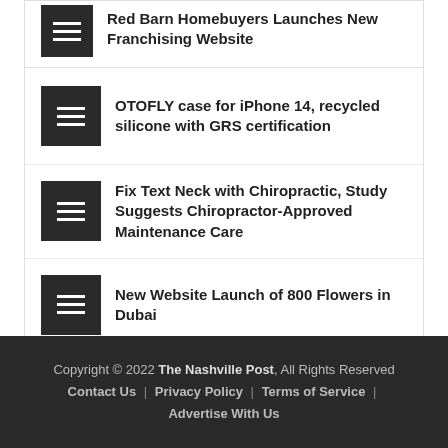Red Barn Homebuyers Launches New Franchising Website
OTOFLY case for iPhone 14, recycled silicone with GRS certification
Fix Text Neck with Chiropractic, Study Suggests Chiropractor-Approved Maintenance Care
New Website Launch of 800 Flowers in Dubai
Copyright © 2022 The Nashville Post, All Rights Reserved | Contact Us | Privacy Policy | Terms of Service | Advertise With Us